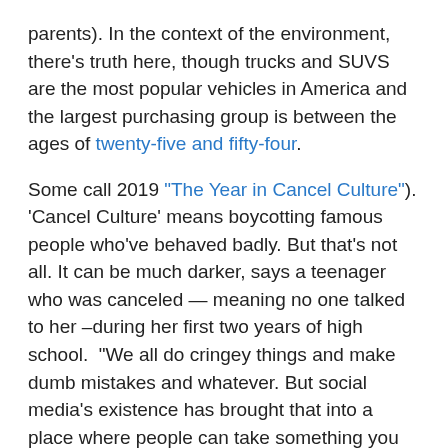parents). In the context of the environment, there's truth here, though trucks and SUVS are the most popular vehicles in America and the largest purchasing group is between the ages of twenty-five and fifty-four.
Some call 2019 "The Year in Cancel Culture"). 'Cancel Culture' means boycotting famous people who've behaved badly. But that's not all. It can be much darker, says a teenager who was canceled — meaning no one talked to her –during her first two years of high school.  "We all do cringey things and make dumb mistakes and whatever. But social media's existence has brought that into a place where people can take something you did back then and make it who you are now." (NYT, Tales from the Teenage Cancel Culture, Nov 2, 2019)
"From Marvel movies to OK Boomer, 2019 was a year of